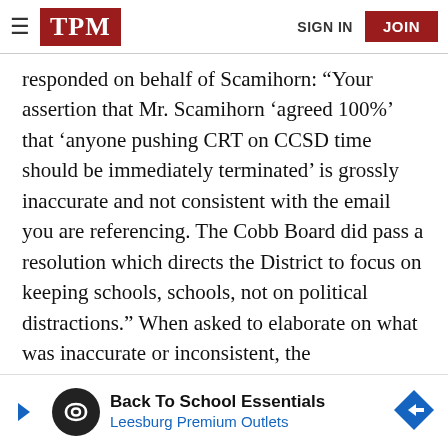TPM | SIGN IN | JOIN
responded on behalf of Scamihorn: “Your assertion that Mr. Scamihorn ‘agreed 100%’ that ‘anyone pushing CRT on CCSD time should be immediately terminated’ is grossly inaccurate and not consistent with the email you are referencing. The Cobb Board did pass a resolution which directs the District to focus on keeping schools, schools, not on political distractions.” When asked to elaborate on what was inaccurate or inconsistent, the spokesperson did not respond.
Flores [ad obscured] aining about
[Figure (advertisement): Back To School Essentials - Leesburg Premium Outlets advertisement banner with infinity logo and navigation arrow icon]